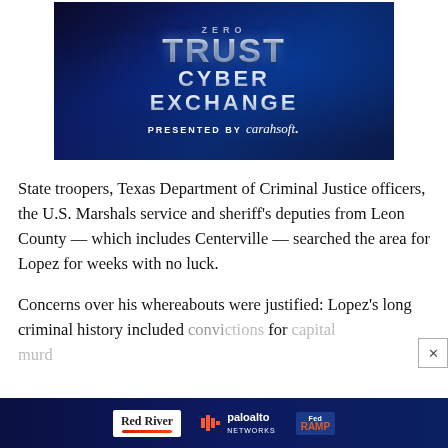[Figure (logo): Zero Trust Cyber Exchange banner, presented by Carahsoft, on a dark blue digital background]
State troopers, Texas Department of Criminal Justice officers, the U.S. Marshals service and sheriff's deputies from Leon County — which includes Centerville — searched the area for Lopez for weeks with no luck.
Concerns over his whereabouts were justified: Lopez's long criminal history included convictions for capital murder
[Figure (logo): Advertisement bar with Red River, Palo Alto Networks, and FedRAMP logos on dark blue background]